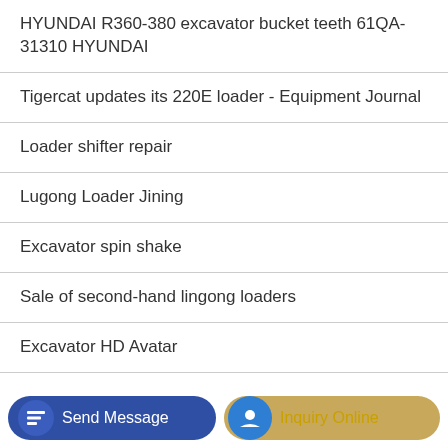HYUNDAI R360-380 excavator bucket teeth 61QA-31310 HYUNDAI
Tigercat updates its 220E loader - Equipment Journal
Loader shifter repair
Lugong Loader Jining
Excavator spin shake
Sale of second-hand lingong loaders
Excavator HD Avatar
Brand new Komatsu excavator 50 price
Send Message | Inquiry Online